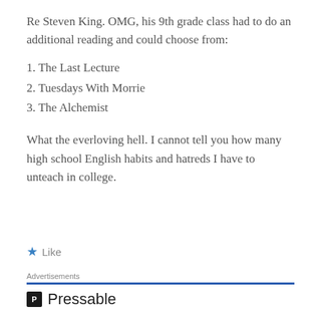Re Steven King. OMG, his 9th grade class had to do an additional reading and could choose from:
1. The Last Lecture
2. Tuesdays With Morrie
3. The Alchemist
What the everloving hell. I cannot tell you how many high school English habits and hatreds I have to unteach in college.
★ Like
Advertisements
[Figure (logo): Pressable logo with icon and text, followed by dots row]